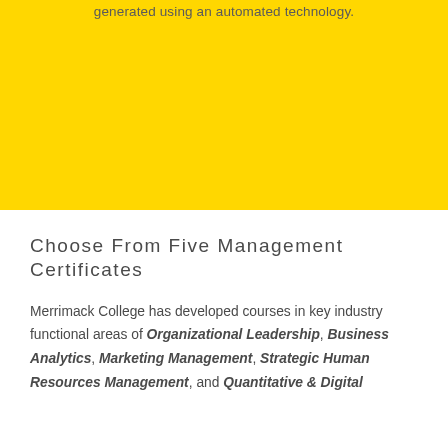generated using an automated technology.
Choose From Five Management Certificates
Merrimack College has developed courses in key industry functional areas of Organizational Leadership, Business Analytics, Marketing Management, Strategic Human Resources Management, and Quantitative & Digital